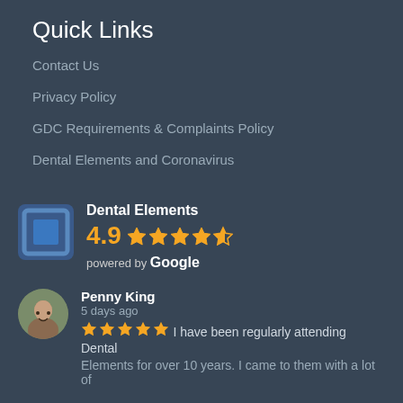Quick Links
Contact Us
Privacy Policy
GDC Requirements & Complaints Policy
Dental Elements and Coronavirus
[Figure (logo): Dental Elements logo - blue square icon with inner square border]
Dental Elements 4.9 ★★★★½ powered by Google
Penny King
5 days ago
★★★★★ I have been regularly attending Dental Elements for over 10 years. I came to them with a lot of